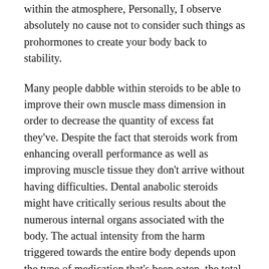within the atmosphere, Personally, I observe absolutely no cause not to consider such things as prohormones to create your body back to stability.
Many people dabble within steroids to be able to improve their own muscle mass dimension in order to decrease the quantity of excess fat they've. Despite the fact that steroids work from enhancing overall performance as well as improving muscle tissue they don't arrive without having difficulties. Dental anabolic steroids might have critically serious results about the numerous internal organs associated with the body. The actual intensity from the harm triggered towards the entire body depends upon the type of medication that's been eaten, the total amount and also the length that the actual steroids happen to be utilized. It's believed which injectable steroids possess lower negative effects evaluate in order to dental medicines because of the